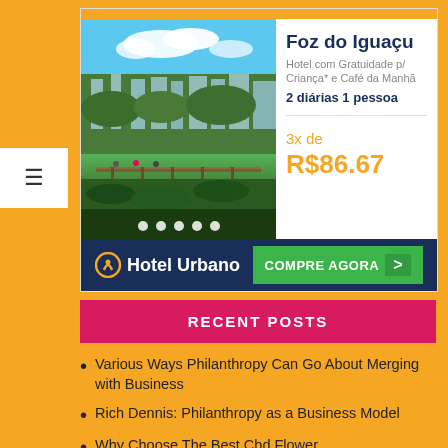[Figure (other): Hotel Urbano advertisement banner for Foz do Iguaçu featuring Iguazu Falls photo, price 3x de R$86.67, with COMPRE AGORA button]
RECENT POSTS
Various Ways Philanthropy Can Go About Merging with Business
Rich Dennis: Philanthropy as a Business Model
Why Choose The Best Cbd Flower
CBD Gummies for Pain relief: The best in the...